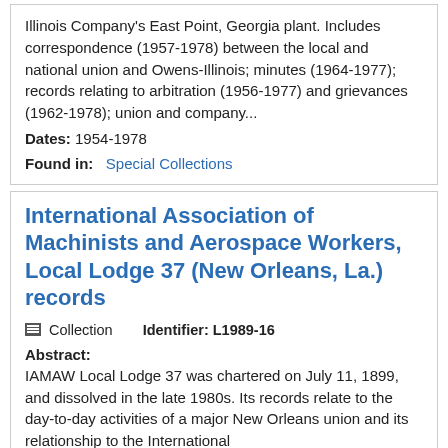Illinois Company's East Point, Georgia plant. Includes correspondence (1957-1978) between the local and national union and Owens-Illinois; minutes (1964-1977); records relating to arbitration (1956-1977) and grievances (1962-1978); union and company...
Dates: 1954-1978
Found in: Special Collections
International Association of Machinists and Aerospace Workers, Local Lodge 37 (New Orleans, La.) records
Collection   Identifier: L1989-16
Abstract: IAMAW Local Lodge 37 was chartered on July 11, 1899, and dissolved in the late 1980s. Its records relate to the day-to-day activities of a major New Orleans union and its relationship to the International